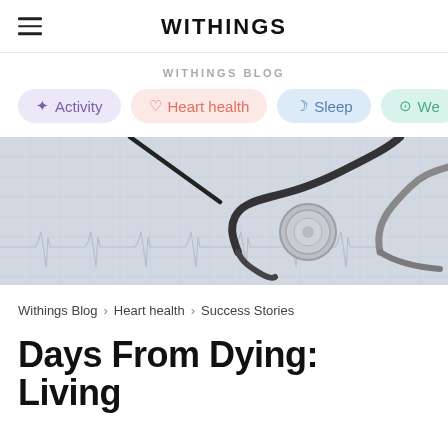WITHINGS
WITHINGS BLOG
Activity
Heart health
Sleep
We…
[Figure (photo): A stethoscope resting on an ECG/EKG printout paper, photographed from above on a white background, with a pen visible near the top.]
Withings Blog > Heart health > Success Stories
Days From Dying: Living